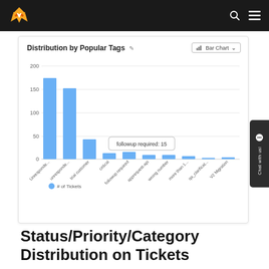[Figure (bar-chart): Distribution by Popular Tags]
Status/Priority/Category Distribution on Tickets